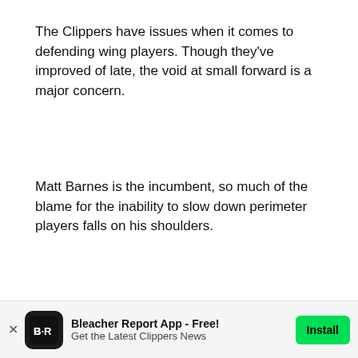The Clippers have issues when it comes to defending wing players. Though they've improved of late, the void at small forward is a major concern.
Matt Barnes is the incumbent, so much of the blame for the inability to slow down perimeter players falls on his shoulders.
[Figure (photo): Video thumbnail showing a man with curly hair under blue stage lighting with a play button overlay]
Bleacher Report App - Free! Get the Latest Clippers News